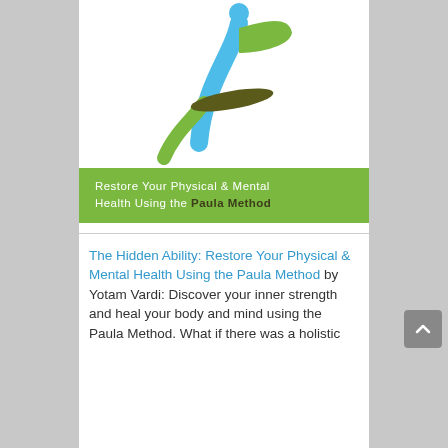[Figure (logo): Stylized human figure logo with blue and green curves and an olive ellipse, representing the Paula Method brand.]
Restore Your Physical & Mental Health Using the Paula Method
The Hidden Ability: Restore Your Physical & Mental Health Using the Paula Method by Yotam Vardi: Discover your inner strength and heal your body and mind using the Paula Method. What if there was a holistic